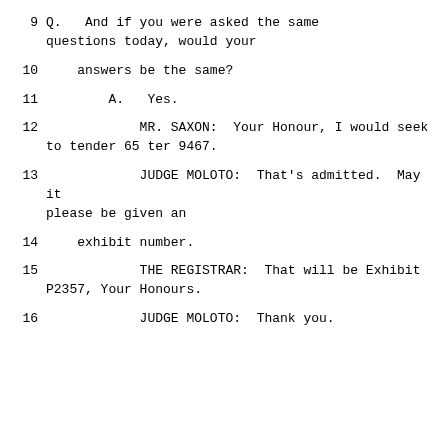9    Q.   And if you were asked the same questions today, would your
10      answers be the same?
11         A.   Yes.
12            MR. SAXON:  Your Honour, I would seek to tender 65 ter 9467.
13            JUDGE MOLOTO:  That's admitted.  May it please be given an
14      exhibit number.
15            THE REGISTRAR:  That will be Exhibit P2357, Your Honours.
16            JUDGE MOLOTO:  Thank you.